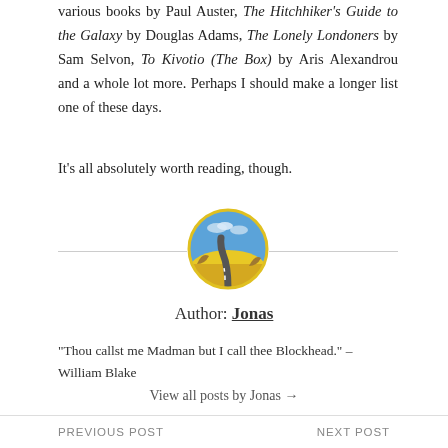various books by Paul Auster, The Hitchhiker's Guide to the Galaxy by Douglas Adams, The Lonely Londoners by Sam Selvon, To Kivotio (The Box) by Aris Alexandrou and a whole lot more. Perhaps I should make a longer list one of these days.
It's all absolutely worth reading, though.
[Figure (illustration): Circular avatar image showing a road through a desert landscape with a blue sky, used as the author avatar for Jonas]
Author: Jonas
"Thou callst me Madman but I call thee Blockhead." – William Blake
View all posts by Jonas →
PREVIOUS POST    NEXT POST